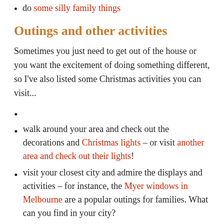do some silly family things
Outings and other activities
Sometimes you just need to get out of the house or you want the excitement of doing something different, so I've also listed some Christmas activities you can visit...
walk around your area and check out the decorations and Christmas lights – or visit another area and check out their lights!
visit your closest city and admire the displays and activities – for instance, the Myer windows in Melbourne are a popular outings for families. What can you find in your city?
take a break and visit another city and check out